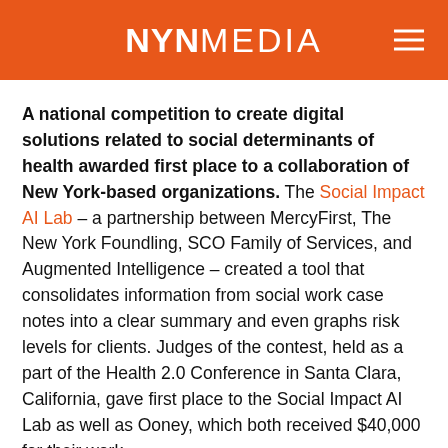NYNMEDIA
A national competition to create digital solutions related to social determinants of health awarded first place to a collaboration of New York-based organizations. The Social Impact AI Lab – a partnership between MercyFirst, The New York Foundling, SCO Family of Services, and Augmented Intelligence – created a tool that consolidates information from social work case notes into a clear summary and even graphs risk levels for clients. Judges of the contest, held as a part of the Health 2.0 Conference in Santa Clara, California, gave first place to the Social Impact AI Lab as well as Ooney, which both received $40,000 for their work.